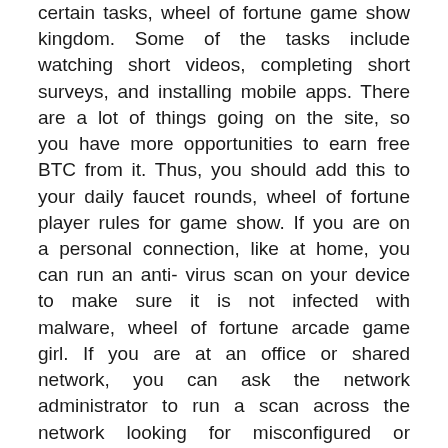certain tasks, wheel of fortune game show kingdom. Some of the tasks include watching short videos, completing short surveys, and installing mobile apps. There are a lot of things going on the site, so you have more opportunities to earn free BTC from it. Thus, you should add this to your daily faucet rounds, wheel of fortune player rules for game show. If you are on a personal connection, like at home, you can run an anti-virus scan on your device to make sure it is not infected with malware, wheel of fortune arcade game girl. If you are at an office or shared network, you can ask the network administrator to run a scan across the network looking for misconfigured or infected devices. Every time you will claim from the faucet, the website will give you a fixed amount of Satoshi that will be displayed on the faucet page, wheel of fortune online cartoon. The average amount will vary d[Обратный звонок button]D exchange rate and its advertising income. Rewards are dispensed at various predetermined intervals of time,